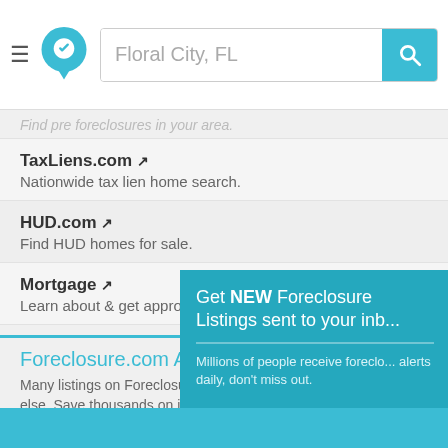Floral City, FL — search header with logo and search box
Find pre foreclosures in your area.
TaxLiens.com — Nationwide tax lien home search.
HUD.com — Find HUD homes for sale.
Mortgage — Learn about & get approved...
Foreclosure.com Advantage
Many listings on Foreclosure... else. Save thousands on inc... Floral City, FL. Save up to 62...
[Figure (screenshot): Popup modal with teal background: 'Get NEW Foreclosure Listings sent to your inbox'. Text: 'Millions of people receive foreclosure alerts daily, don't miss out.' Red button: 'Signup Here'. Links: 'No Thanks | Remind Me Later'. White envelope icon on right.]
Teal footer bar at bottom